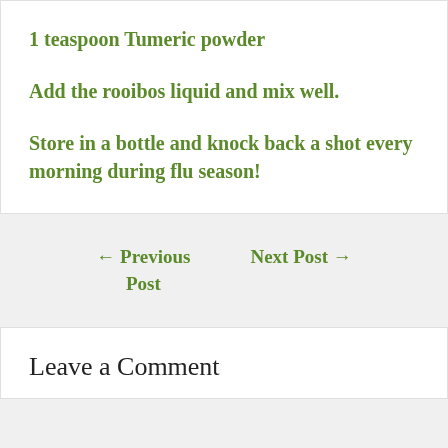1 teaspoon Tumeric powder
Add the rooibos liquid and mix well.
Store in a bottle and knock back a shot every morning during flu season!
← Previous Post
Next Post →
Leave a Comment